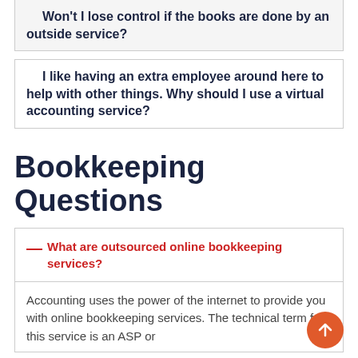Won't I lose control if the books are done by an outside service?
I like having an extra employee around here to help with other things. Why should I use a virtual accounting service?
Bookkeeping Questions
— What are outsourced online bookkeeping services?
Accounting uses the power of the internet to provide you with online bookkeeping services. The technical term for this service is an ASP or